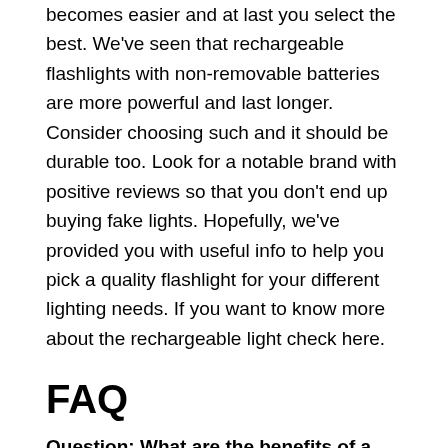becomes easier and at last you select the best. We've seen that rechargeable flashlights with non-removable batteries are more powerful and last longer. Consider choosing such and it should be durable too. Look for a notable brand with positive reviews so that you don't end up buying fake lights. Hopefully, we've provided you with useful info to help you pick a quality flashlight for your different lighting needs. If you want to know more about the rechargeable light check here.
FAQ
Question: What are the benefits of a rechargeable flashlight?
Answer: A rechargeable flashlight is powered by a rechargeable battery. Therefore, these flashlights are normally brighter, have a longer runtime, and can withstand harsh conditions like the cold. Also, you don't have to go